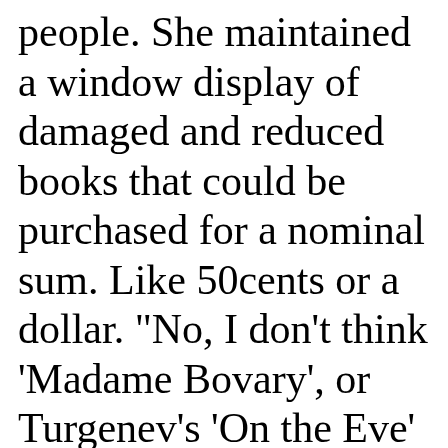people. She maintained a window display of damaged and reduced books that could be purchased for a nominal sum. Like 50cents or a dollar. "No, I don't think 'Madame Bovary', or Turgenev's 'On the Eve' are the classics for you.